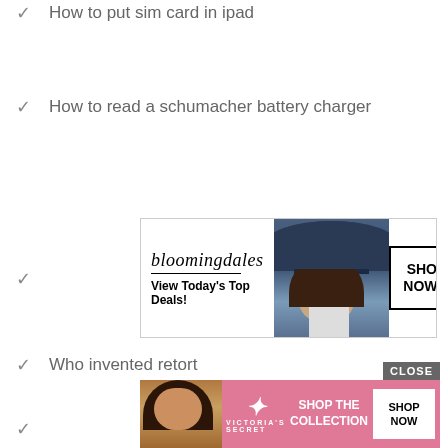How to put sim card in ipad
How to read a schumacher battery charger
[Figure (infographic): Bloomingdale's advertisement banner with logo, 'View Today's Top Deals!' tagline, model wearing a hat, and 'SHOP NOW >' button]
Who invented retort
What is a good ping
When did dance moms start
How to cook pork chops on a gas grill
How much do you get for kids on taxes
[Figure (infographic): Victoria's Secret advertisement banner with model, VS logo, 'SHOP THE COLLECTION' text, and 'SHOP NOW' button]